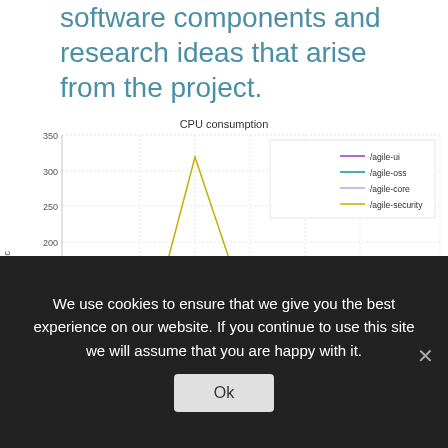software components and research ideas that arise from the project.
[Figure (line-chart): CPU consumption]
We use cookies to ensure that we give you the best experience on our website. If you continue to use this site we will assume that you are happy with it.